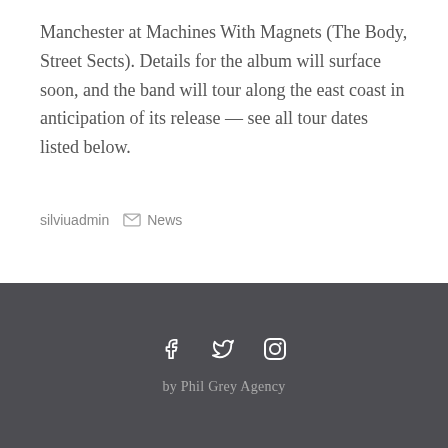Manchester at Machines With Magnets (The Body, Street Sects). Details for the album will surface soon, and the band will tour along the east coast in anticipation of its release — see all tour dates listed below.
silviuadmin   News
by Phil Grey Agency